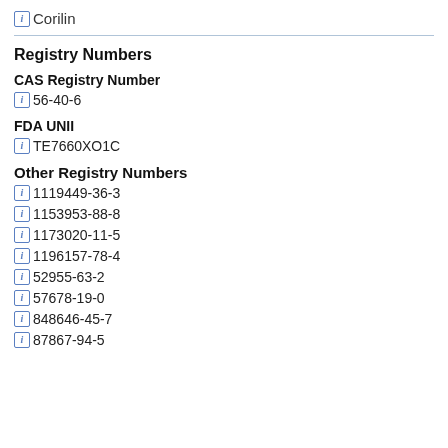Corilin
Registry Numbers
CAS Registry Number
56-40-6
FDA UNII
TE7660XO1C
Other Registry Numbers
1119449-36-3
1153953-88-8
1173020-11-5
1196157-78-4
52955-63-2
57678-19-0
848646-45-7
87867-94-5